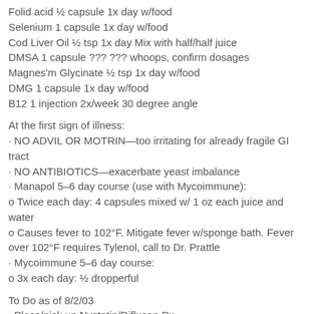Folid acid ½ capsule 1x day w/food
Selenium 1 capsule 1x day w/food
Cod Liver Oil ½ tsp 1x day Mix with half/half juice
DMSA 1 capsule ??? ??? whoops, confirm dosages
Magnes'm Glycinate ½ tsp 1x day w/food
DMG 1 capsule 1x day w/food
B12 1 injection 2x/week 30 degree angle
At the first sign of illness:
· NO ADVIL OR MOTRIN—too irritating for already fragile GI tract
· NO ANTIBIOTICS—exacerbate yeast imbalance
· Manapol 5–6 day course (use with Mycoimmune):
o Twice each day: 4 capsules mixed w/ 1 oz each juice and water
o Causes fever to 102°F. Mitigate fever w/sponge bath. Fever over 102°F requires Tylenol, call to Dr. Prattle
· Mycoimmune 5–6 day course:
o 3x each day: ½ dropperful
To Do as of 8/2/03
· Place/pick up Nystatin/Diflucan Rx